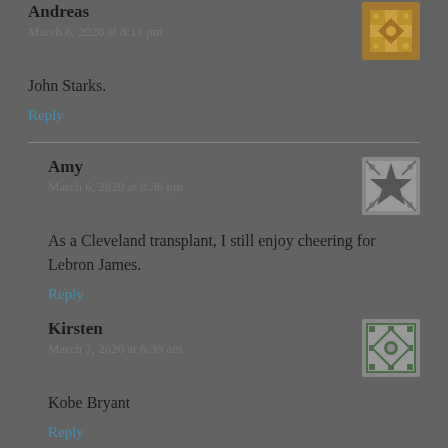Andreas
March 6, 2020 at 8:11 pm
John Starks.
Reply
Amy
March 6, 2020 at 8:36 pm
As a Cleveland transplant, I still enjoy cheering for Lebron James.
Reply
Kirsten
March 7, 2020 at 6:39 am
Kobe Bryant
Reply